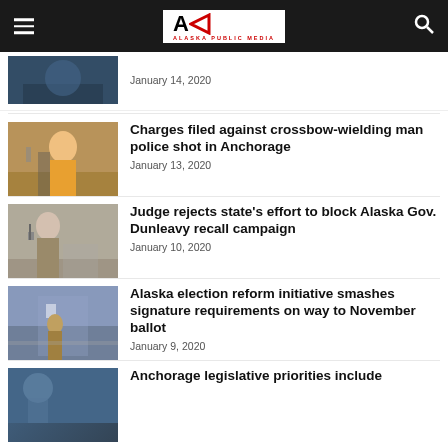Alaska Public Media
January 14, 2020
Charges filed against crossbow-wielding man police shot in Anchorage
January 13, 2020
Judge rejects state's effort to block Alaska Gov. Dunleavy recall campaign
January 10, 2020
Alaska election reform initiative smashes signature requirements on way to November ballot
January 9, 2020
Anchorage legislative priorities include